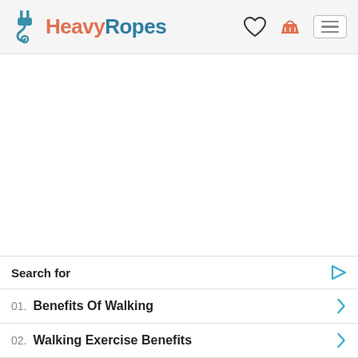[Figure (logo): HeavyRopes logo with rope/plug icon in teal and brand name in coral and teal colors]
Search for
01. Benefits Of Walking
02. Walking Exercise Benefits
Yahoo! Search | Sponsored